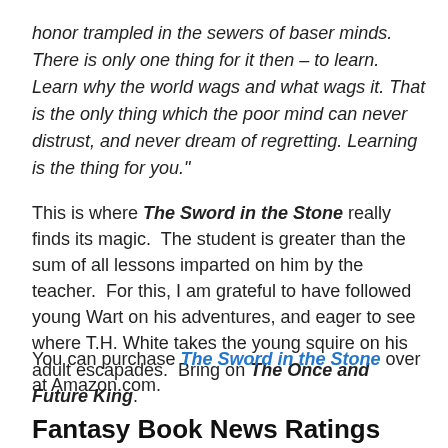honor trampled in the sewers of baser minds. There is only one thing for it then – to learn. Learn why the world wags and what wags it. That is the only thing which the poor mind can never distrust, and never dream of regretting. Learning is the thing for you."
This is where The Sword in the Stone really finds its magic. The student is greater than the sum of all lessons imparted on him by the teacher. For this, I am grateful to have followed young Wart on his adventures, and eager to see where T.H. White takes the young squire on his adult escapades. Bring on The Once and Future King.
You can purchase The Sword in the Stone over at Amazon.com.
Fantasy Book News Ratings